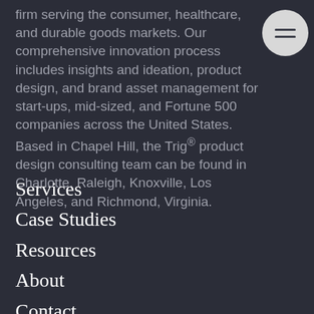firm serving the consumer, healthcare, and durable goods markets. Our comprehensive innovation process includes insights and ideation, product design, and brand asset management for start-ups, mid-sized, and Fortune 500 companies across the United States. Based in Chapel Hill, the Trig® product design consulting team can be found in Charlotte, Raleigh, Knoxville, Los Angeles, and Richmond, Virginia.
Services
Case Studies
Resources
About
Contact